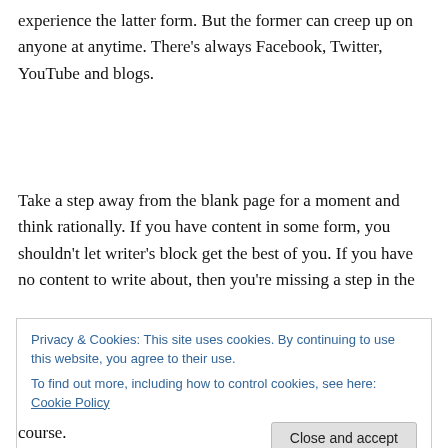experience the latter form. But the former can creep up on anyone at anytime. There's always Facebook, Twitter, YouTube and blogs.
Take a step away from the blank page for a moment and think rationally. If you have content in some form, you shouldn't let writer's block get the best of you. If you have no content to write about, then you're missing a step in the
Privacy & Cookies: This site uses cookies. By continuing to use this website, you agree to their use.
To find out more, including how to control cookies, see here: Cookie Policy
course.